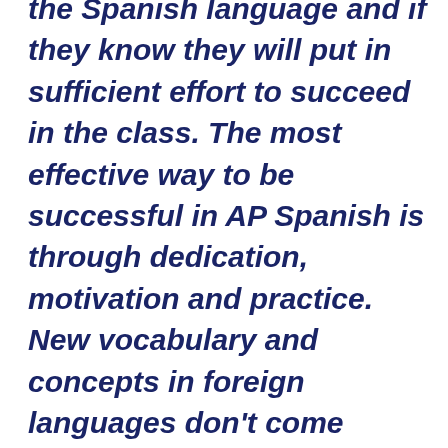the Spanish language and if they know they will put in sufficient effort to succeed in the class. The most effective way to be successful in AP Spanish is through dedication, motivation and practice. New vocabulary and concepts in foreign languages don't come easily to everyone, which is why the best you can do is